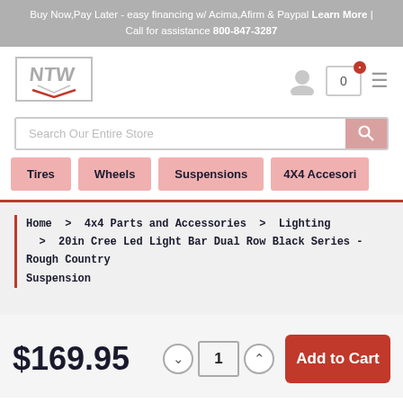Buy Now,Pay Later - easy financing w/ Acima,Afirm & Paypal Learn More | Call for assistance 800-847-3287
[Figure (logo): NTW logo with chevron design in grey]
[Figure (screenshot): Navigation icons: user profile, cart with 0 badge, hamburger menu]
Search Our Entire Store
Tires
Wheels
Suspensions
4X4 Accesori
Home  >  4x4 Parts and Accessories  >  Lighting  >  20in Cree Led Light Bar Dual Row Black Series - Rough Country Suspension
$169.95
1
Add to Cart